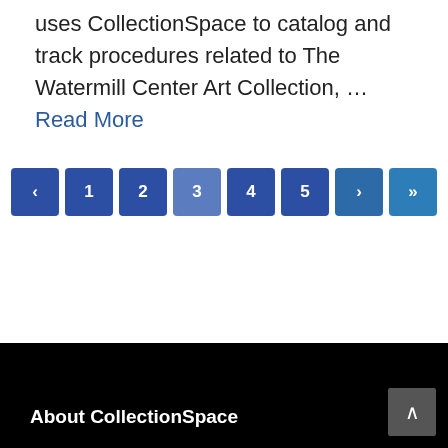uses CollectionSpace to catalog and track procedures related to The Watermill Center Art Collection, … Read More
[Figure (other): Pagination navigation with buttons: ‹ 1 2 3 4 5 › »]
About CollectionSpace